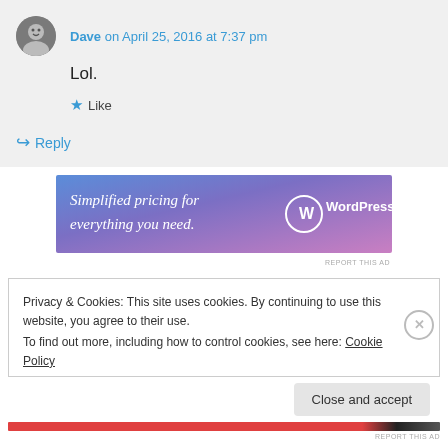Dave on April 25, 2016 at 7:37 pm
Lol.
★ Like
↪ Reply
[Figure (infographic): WordPress.com advertisement banner: 'Simplified pricing for everything you need.' with WordPress.com logo, blue-to-purple gradient background]
REPORT THIS AD
Privacy & Cookies: This site uses cookies. By continuing to use this website, you agree to their use.
To find out more, including how to control cookies, see here: Cookie Policy
Close and accept